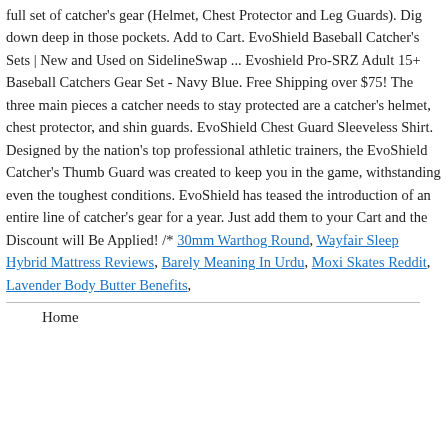full set of catcher's gear (Helmet, Chest Protector and Leg Guards). Dig down deep in those pockets. Add to Cart. EvoShield Baseball Catcher's Sets | New and Used on SidelineSwap ... Evoshield Pro-SRZ Adult 15+ Baseball Catchers Gear Set - Navy Blue. Free Shipping over $75! The three main pieces a catcher needs to stay protected are a catcher's helmet, chest protector, and shin guards. EvoShield Chest Guard Sleeveless Shirt. Designed by the nation's top professional athletic trainers, the EvoShield Catcher's Thumb Guard was created to keep you in the game, withstanding even the toughest conditions. EvoShield has teased the introduction of an entire line of catcher's gear for a year. Just add them to your Cart and the Discount will Be Applied! /* 30mm Warthog Round, Wayfair Sleep Hybrid Mattress Reviews, Barely Meaning In Urdu, Moxi Skates Reddit, Lavender Body Butter Benefits,
Home